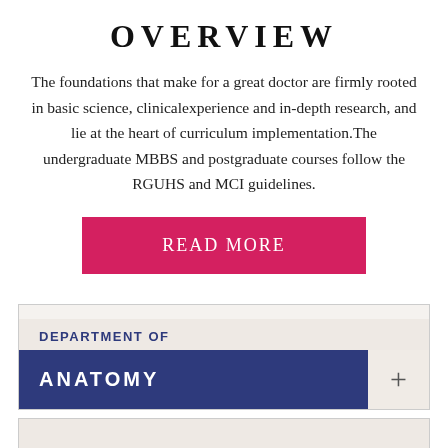OVERVIEW
The foundations that make for a great doctor are firmly rooted in basic science, clinicalexperience and in-depth research, and lie at the heart of curriculum implementation.The undergraduate MBBS and postgraduate courses follow the RGUHS and MCI guidelines.
[Figure (other): Pink/red READ MORE button]
DEPARTMENT OF
ANATOMY